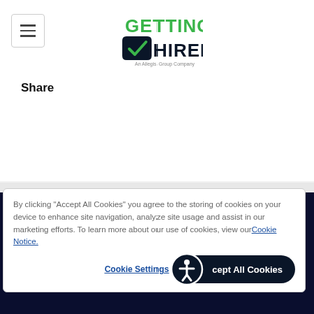[Figure (logo): Getting Hired logo with green text and checkmark, subtitle 'An Allegis Group Company']
Share
ABOUT
By clicking “Accept All Cookies” you agree to the storing of cookies on your device to enhance site navigation, analyze site usage and assist in our marketing efforts. To learn more about our use of cookies, view our Cookie Notice.
Cookie Settings
Accept All Cookies